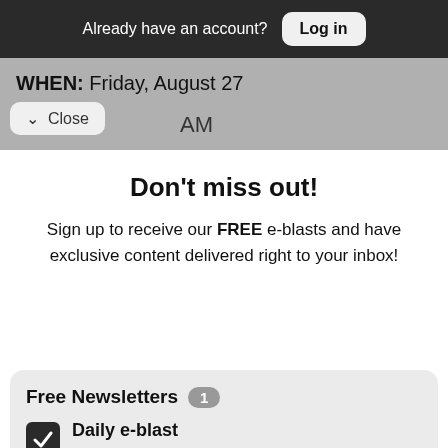Already have an account? Log in
WHEN: Friday, August 27
Close  AM
Don't miss out!
Sign up to receive our FREE e-blasts and have exclusive content delivered right to your inbox!
Free Newsletters 1
Daily e-blast — Join thousands of readers who get their coverage on Black communities from the media company who has been doing it